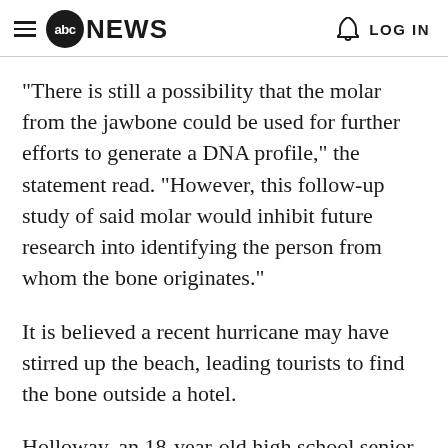abc NEWS | LOG IN
"There is still a possibility that the molar from the jawbone could be used for further efforts to generate a DNA profile," the statement read. "However, this follow-up study of said molar would inhibit future research into identifying the person from whom the bone originates."
It is believed a recent hurricane may have stirred up the beach, leading tourists to find the bone outside a hotel.
Holloway, an 18-year-old high school senior from Alabama, vanished in the island country